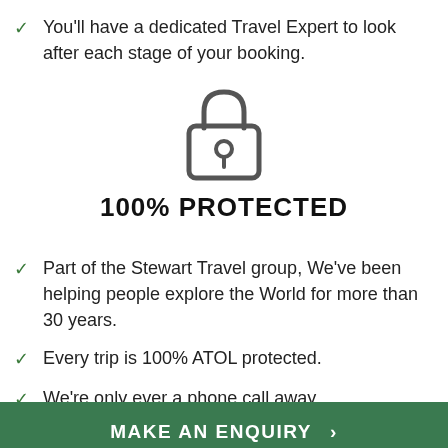You'll have a dedicated Travel Expert to look after each stage of your booking.
[Figure (illustration): Padlock icon outline drawing representing protection/security]
100% PROTECTED
Part of the Stewart Travel group, We've been helping people explore the World for more than 30 years.
Every trip is 100% ATOL protected.
We're only ever a phone call away.
MAKE AN ENQUIRY